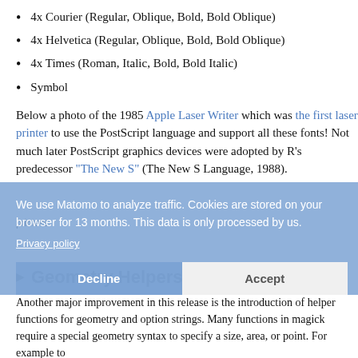4x Courier (Regular, Oblique, Bold, Bold Oblique)
4x Helvetica (Regular, Oblique, Bold, Bold Oblique)
4x Times (Roman, Italic, Bold, Bold Italic)
Symbol
Below a photo of the 1985 Apple Laser Writer which was the first laser printer to use the PostScript language and support all these fonts! Not much later PostScript graphics devices were adopted by R's predecessor "The New S" (The New S Language, 1988).
[Figure (photo): Cookie consent banner overlay on top of page content, with text: We use Matomo to analyze traffic. Cookies are stored on your browser for 13 months. This data is only processed by us. Privacy policy. Decline and Accept buttons.]
Geometry Helpers
Another major improvement in this release is the introduction of helper functions for geometry and option strings. Many functions in magick require a special geometry syntax to specify a size, area, or point. For example to